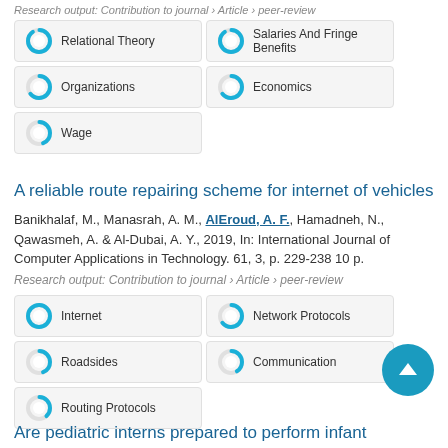Research output: Contribution to journal › Article › peer-review
Relational Theory
Salaries And Fringe Benefits
Organizations
Economics
Wage
A reliable route repairing scheme for internet of vehicles
Banikhalaf, M., Manasrah, A. M., AlEroud, A. F., Hamadneh, N., Qawasmeh, A. & Al-Dubai, A. Y., 2019, In: International Journal of Computer Applications in Technology. 61, 3, p. 229-238 10 p.
Research output: Contribution to journal › Article › peer-review
Internet
Network Protocols
Roadsides
Communication
Routing Protocols
Are pediatric interns prepared to perform infant